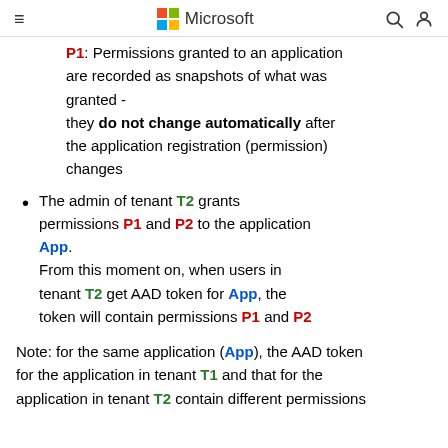Microsoft
P1: Permissions granted to an application are recorded as snapshots of what was granted - they do not change automatically after the application registration (permission) changes
The admin of tenant T2 grants permissions P1 and P2 to the application App. From this moment on, when users in tenant T2 get AAD token for App, the token will contain permissions P1 and P2
Note: for the same application (App), the AAD token for the application in tenant T1 and that for the application in tenant T2 contain different permissions